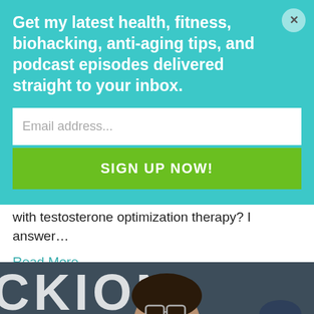Get my latest health, fitness, biohacking, anti-aging tips, and podcast episodes delivered straight to your inbox.
Email address...
SIGN UP NOW!
fat loss, and cognition? How can you get started with testosterone optimization therapy? I answer...
Read More
[Figure (photo): Man wearing glasses in front of a dark background with partial text 'OKION' visible]